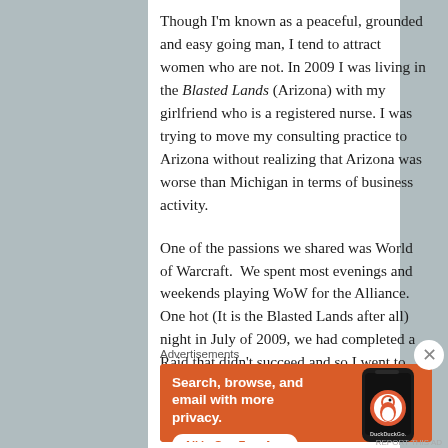Though I'm known as a peaceful, grounded and easy going man, I tend to attract women who are not. In 2009 I was living in the Blasted Lands (Arizona) with my girlfriend who is a registered nurse. I was trying to move my consulting practice to Arizona without realizing that Arizona was worse than Michigan in terms of business activity.
One of the passions we shared was World of Warcraft. We spent most evenings and weekends playing WoW for the Alliance. One hot (It is the Blasted Lands after all) night in July of 2009, we had completed a Raid that didn't succeed and so I went to bed. Three hours later I was awakened by my girlfriend astride me punching me in the face!
Advertisements
[Figure (infographic): DuckDuckGo advertisement on orange background: 'Search, browse, and email with more privacy. All in One Free App' with a phone image showing the DuckDuckGo app.]